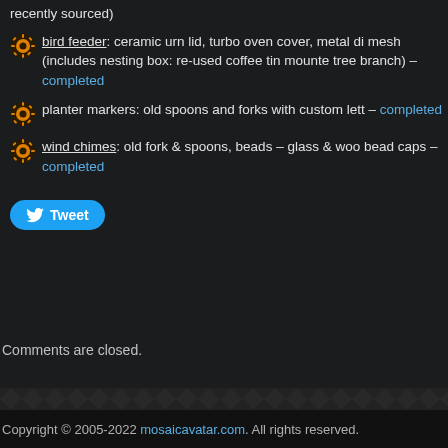recently sourced)
bird feeder: ceramic urn lid, turbo oven cover, metal di mesh (includes nesting box: re-used coffee tin mounte tree branch) – completed
planter markers: old spoons and forks with custom lett – completed
wind chimes: old fork & spoons, beads – glass & woo bead caps – completed
[Figure (other): Tweet button with Twitter bird icon]
Comments are closed.
[Figure (other): Decorative diamond pattern footer strip]
Copyright © 2005-2022 mosaicavatar.com. All rights reserved.